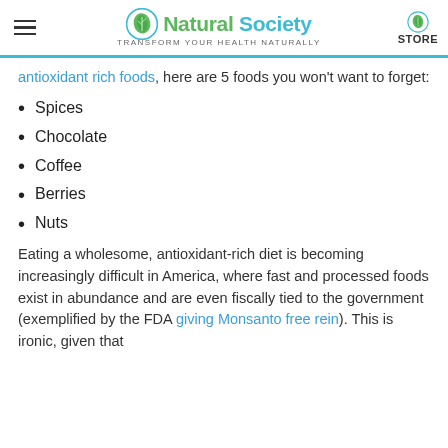Natural Society — Transform your health naturally | STORE
antioxidant rich foods, here are 5 foods you won't want to forget:
Spices
Chocolate
Coffee
Berries
Nuts
Eating a wholesome, antioxidant-rich diet is becoming increasingly difficult in America, where fast and processed foods exist in abundance and are even fiscally tied to the government (exemplified by the FDA giving Monsanto free rein). This is ironic, given that